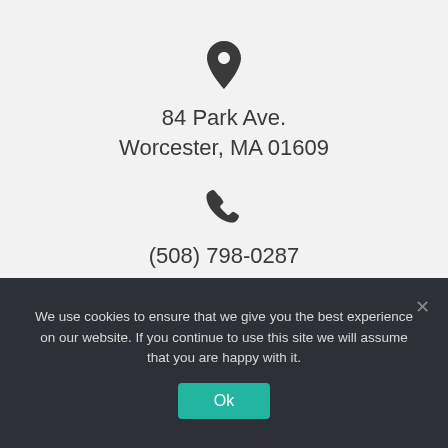[Figure (illustration): Location pin icon (map marker)]
84 Park Ave.
Worcester, MA 01609
[Figure (illustration): Phone handset icon]
(508) 798-0287
We use cookies to ensure that we give you the best experience on our website. If you continue to use this site we will assume that you are happy with it.
Ok